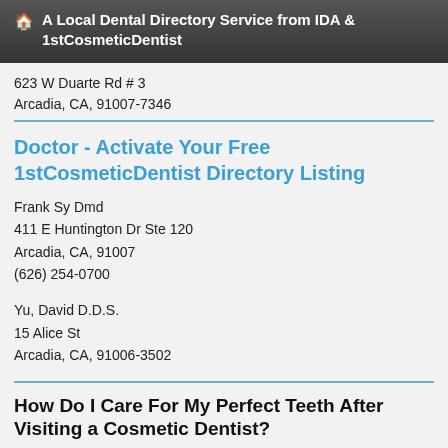🏠 A Local Dental Directory Service from IDA & 1stCosmeticDentist
623 W Duarte Rd # 3
Arcadia, CA, 91007-7346
Doctor - Activate Your Free 1stCosmeticDentist Directory Listing
Frank Sy Dmd
411 E Huntington Dr Ste 120
Arcadia, CA, 91007
(626) 254-0700
Yu, David D.D.S.
15 Alice St
Arcadia, CA, 91006-3502
How Do I Care For My Perfect Teeth After Visiting a Cosmetic Dentist?
[Figure (photo): Portrait photo of a woman with dark hair]
Have you had esthetic enhancements to your teeth or just naturally have great looking,